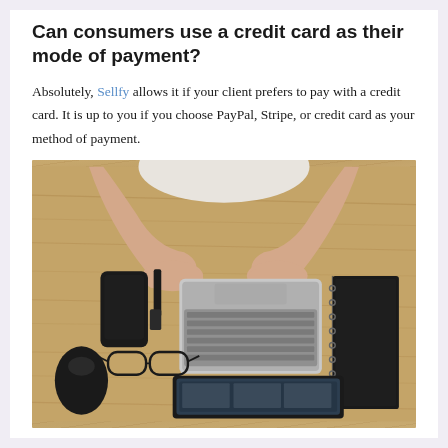Can consumers use a credit card as their mode of payment?
Absolutely, Sellfy allows it if your client prefers to pay with a credit card. It is up to you if you choose PayPal, Stripe, or credit card as your method of payment.
[Figure (photo): Overhead view of a person's hands on a wooden desk with a laptop, smartphone, glasses, mouse, tablet, and a black notebook arranged around them.]